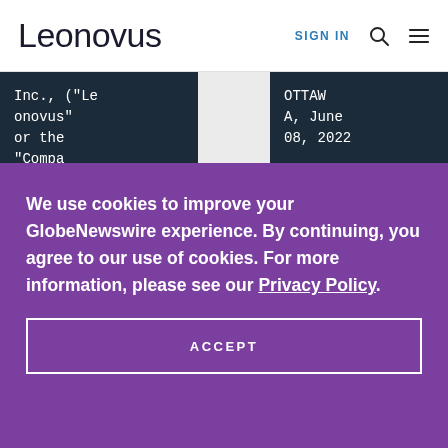Leonovus | SIGN IN
Inc., ("Leonovus" or the "Compa
OTTAWA, June 08, 2022
We use cookies to improve your GlobeNewswire experience. By continuing, you agree to our use of cookies. For more information, please see our Privacy Policy.
ACCEPT